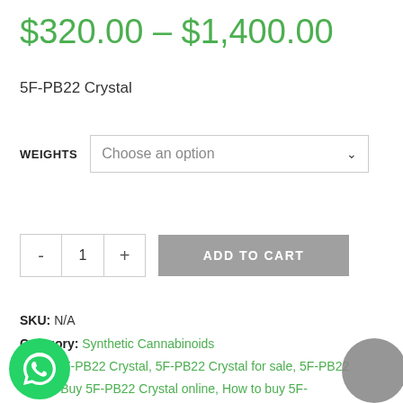$320.00 – $1,400.00
5F-PB22 Crystal
WEIGHTS   Choose an option
- 1 +   ADD TO CART
SKU: N/A
Category: Synthetic Cannabinoids
Tags: 5F-PB22 Crystal, 5F-PB22 Crystal for sale, 5F-PB22 online, Buy 5F-PB22 Crystal online, How to buy 5F-PB22 Crystal online, Order 5F-PB22 Crystal online, Purchase 5F-PB22 Crystal online, Synthetic cannabinoids online, Where